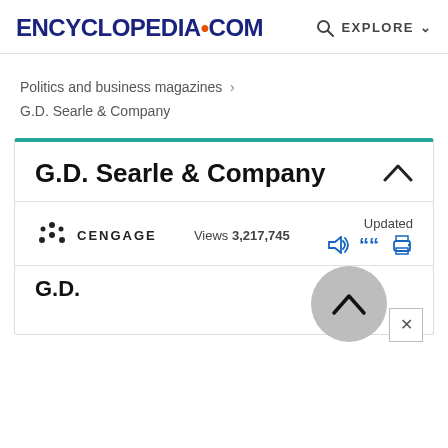ENCYCLopedia.com  EXPLORE
Politics and business magazines › G.D. Searle & Company
G.D. Searle & Company
CENGAGE  Views 3,217,745  Updated
G.D.